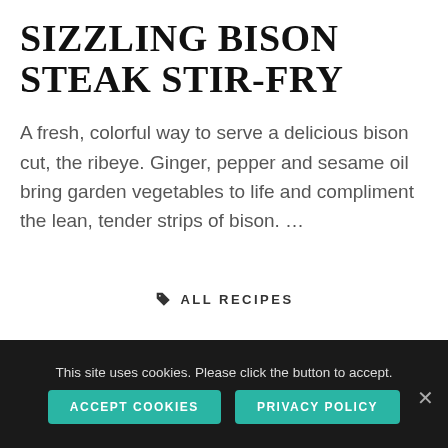SIZZLING BISON STEAK STIR-FRY
A fresh, colorful way to serve a delicious bison cut, the ribeye. Ginger, pepper and sesame oil bring garden vegetables to life and compliment the lean, tender strips of bison. …
🏷 ALL RECIPES
This site uses cookies. Please click the button to accept.
ACCEPT COOKIES
PRIVACY POLICY